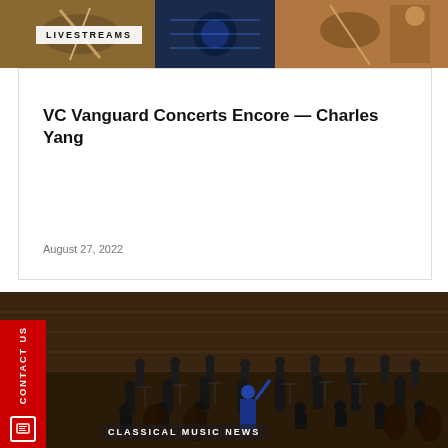[Figure (photo): Collage of orchestra/music performance photos at top of page]
LIVESTREAMS
VC Vanguard Concerts Encore — Charles Yang
August 27, 2022
[Figure (photo): Orchestra performing on stage in concert hall, conductor visible with back to camera]
CLASSICAL MUSIC NEWS